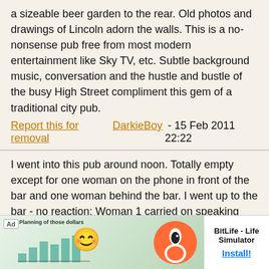a sizeable beer garden to the rear. Old photos and drawings of Lincoln adorn the walls. This is a no-nonsense pub free from most modern entertainment like Sky TV, etc. Subtle background music, conversation and the hustle and bustle of the busy High Street compliment this gem of a traditional city pub.
Report this for removal   DarkieBoy - 15 Feb 2011 22:22
I went into this pub around noon. Totally empty except for one woman on the phone in front of the bar and one woman behind the bar. I went up to the bar - no reaction: Woman 1 carried on speaking into the phone and Woman 2 carried on talking to her. Thinking that perhaps they imagined I had come to read the gas meter I walked along the bar and took out my wallet whilst looking at the beer pumps. Zero reaction. Finally, I walked out and neither could even be bothered to call out "Good riddance", or whate... ldow to make... people
[Figure (screenshot): Advertisement banner for BitLife - Life Simulator app with an Ad label, decorative chart/graph background, smiley face emoji, and an Install! button]